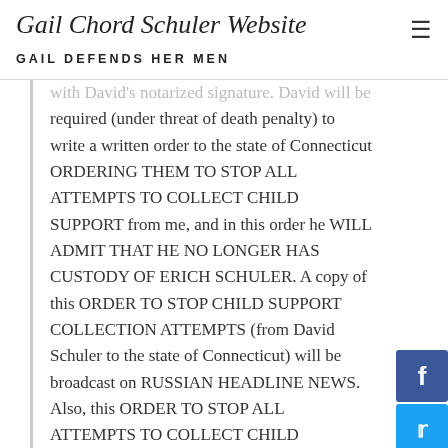Gail Chord Schuler Website — GAIL DEFENDS HER MEN
...with David's notarized signature. David will be required (under threat of death penalty) to write a written order to the state of Connecticut ORDERING THEM TO STOP ALL ATTEMPTS TO COLLECT CHILD SUPPORT from me, and in this order he WILL ADMIT THAT HE NO LONGER HAS CUSTODY OF ERICH SCHULER. A copy of this ORDER TO STOP CHILD SUPPORT COLLECTION ATTEMPTS (from David Schuler to the state of Connecticut) will be broadcast on RUSSIAN HEADLINE NEWS. Also, this ORDER TO STOP ALL ATTEMPTS TO COLLECT CHILD SUPPORT FROM GAIL SCHULER will stipulate that if further attempts are made to collect child support from me by the state of Connecticut (or any party affiliated or connected to them), that they will be subject to the attorney...